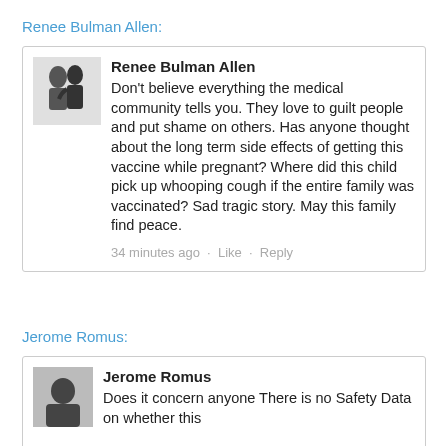Renee Bulman Allen:
[Figure (screenshot): Facebook comment by Renee Bulman Allen with profile photo. Comment text: 'Don't believe everything the medical community tells you. They love to guilt people and put shame on others. Has anyone thought about the long term side effects of getting this vaccine while pregnant? Where did this child pick up whooping cough if the entire family was vaccinated? Sad tragic story. May this family find peace.' Timestamp: 34 minutes ago · Like · Reply]
Jerome Romus:
[Figure (screenshot): Facebook comment by Jerome Romus with profile photo. Partial comment text: 'Does it concern anyone There is no Safety Data on whether this']